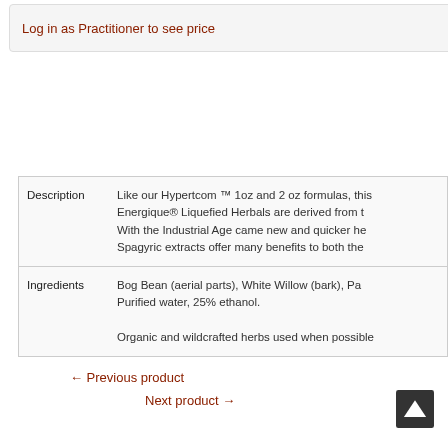Log in as Practitioner to see price
|  |  |
| --- | --- |
| Description | Like our Hypertcom ™ 1oz and 2 oz formulas, this Energique® Liquefied Herbals are derived from t With the Industrial Age came new and quicker he Spagyric extracts offer many benefits to both the |
| Ingredients | Bog Bean (aerial parts), White Willow (bark), Pa Purified water, 25% ethanol. Organic and wildcrafted herbs used when possible |
← Previous product
Next product →